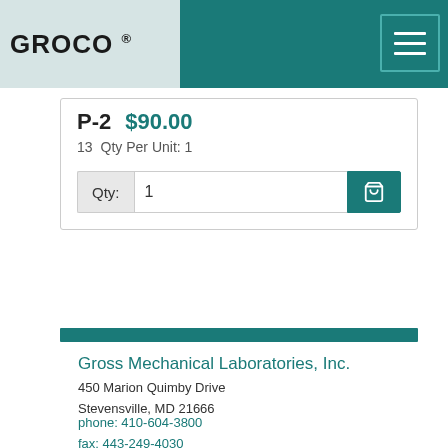GROCO ®
P-2  $90.00
13  Qty Per Unit: 1
Qty:  1
Gross Mechanical Laboratories, Inc.
450 Marion Quimby Drive
Stevensville, MD 21666
phone: 410-604-3800
fax: 443-249-4030
Technicians
7:30 am - 4:00 pm EST
Send an Email